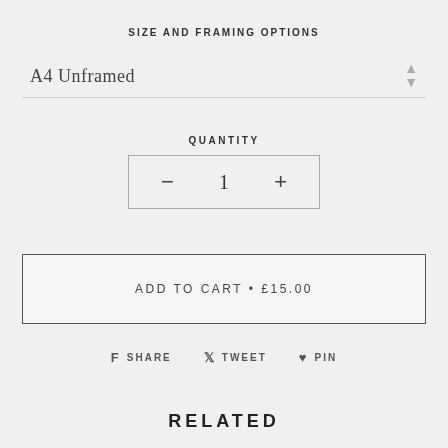SIZE AND FRAMING OPTIONS
A4 Unframed
QUANTITY
− 1 +
ADD TO CART • £15.00
SHARE   TWEET   PIN
RELATED